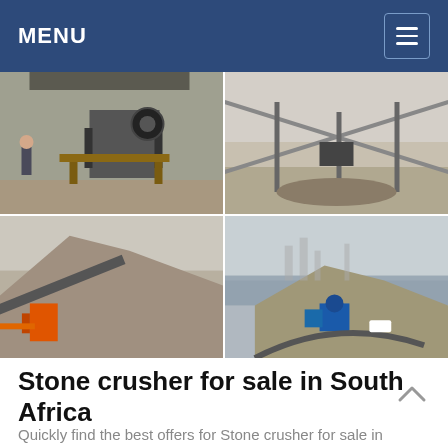MENU
[Figure (photo): Four photos of stone crusher equipment and mining sites in South Africa: industrial jaw crusher machine indoors, conveyor belt system outdoors, large gravel pile with orange crusher machine, quarry site with blue machinery near water]
Stone crusher for sale in South Africa
Quickly find the best offers for Stone crusher for sale in South Africa on Ananzi Ads. ... Allrock supplies &